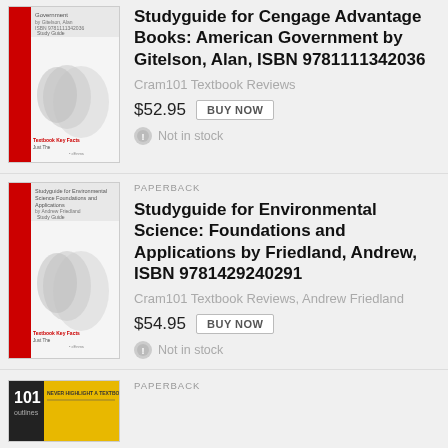[Figure (photo): Book cover for Studyguide for Cengage Advantage Books: American Government by Gitelson, Alan - facts101 Textbook Key Facts Study Guide]
Studyguide for Cengage Advantage Books: American Government by Gitelson, Alan, ISBN 9781111342036
Cram101 Textbook Reviews
$52.95  BUY NOW
Not in stock
PAPERBACK
[Figure (photo): Book cover for Studyguide for Environmental Science: Foundations and Applications by Friedland, Andrew - facts101 Textbook Key Facts Study Guide]
Studyguide for Environmental Science: Foundations and Applications by Friedland, Andrew, ISBN 9781429240291
Cram101 Textbook Reviews, Andrew Friedland
$54.95  BUY NOW
Not in stock
PAPERBACK
[Figure (photo): Book cover - yellow with 101 outlines branding]